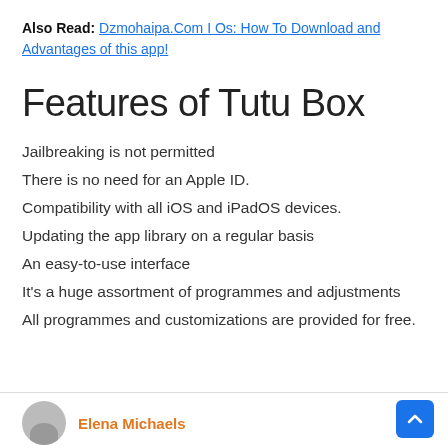Also Read: Dzmohaipa.Com I Os: How To Download and Advantages of this app!
Features of Tutu Box
Jailbreaking is not permitted
There is no need for an Apple ID.
Compatibility with all iOS and iPadOS devices.
Updating the app library on a regular basis
An easy-to-use interface
It's a huge assortment of programmes and adjustments
All programmes and customizations are provided for free.
Elena Michaels